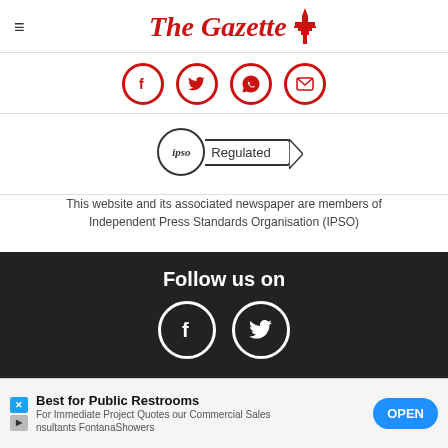The Gazette
[Figure (infographic): Social media icons in red circles: Facebook, Twitter, WhatsApp, Email]
[Figure (logo): IPSO Regulated badge]
This website and its associated newspaper are members of Independent Press Standards Organisation (IPSO)
Follow us on
[Figure (infographic): Facebook and Twitter icons in white circles on dark background]
Explore
News
Sport
Blackp...
What's On
Lifestyle
[Figure (infographic): Advertisement banner: Best for Public Restrooms - FontanaShowers]